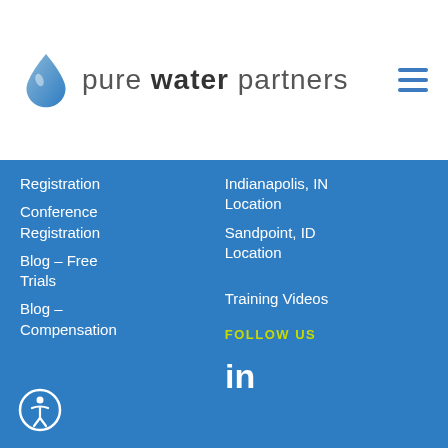[Figure (logo): Pure Water Partners logo with blue water drop icon and text 'pure water partners']
Registration
Conference Registration
Blog – Free Trials
Blog – Compensation
Indianapolis, IN Location
Sandpoint, ID Location
Training Videos
FOLLOW US
[Figure (logo): LinkedIn icon]